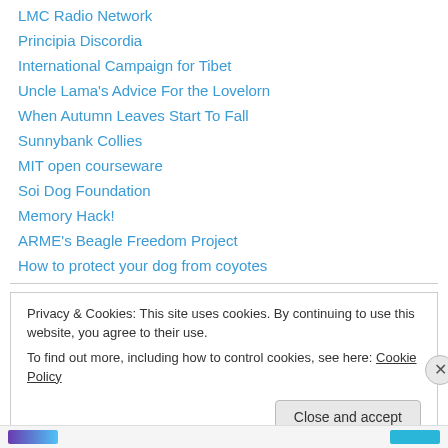LMC Radio Network
Principia Discordia
International Campaign for Tibet
Uncle Lama's Advice For the Lovelorn
When Autumn Leaves Start To Fall
Sunnybank Collies
MIT open courseware
Soi Dog Foundation
Memory Hack!
ARME's Beagle Freedom Project
How to protect your dog from coyotes
Privacy & Cookies: This site uses cookies. By continuing to use this website, you agree to their use. To find out more, including how to control cookies, see here: Cookie Policy